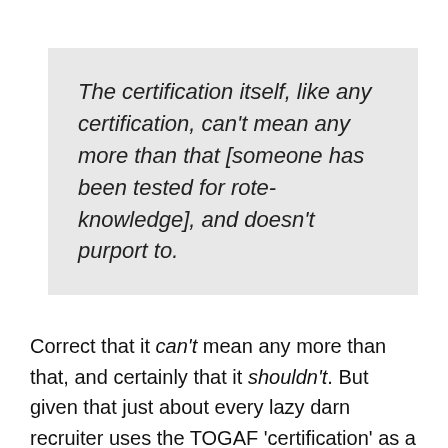The certification itself, like any certification, can't mean any more than that [someone has been tested for rote-knowledge], and doesn't purport to.
Correct that it can't mean any more than that, and certainly that it shouldn't. But given that just about every lazy darn recruiter uses the TOGAF 'certification' as a tick-the-box test not just of purported knowledge but of competence and skill, and that Open Group and, even more, its trainer-community actively promote it as such, we know that that assertion that "doesn't purport to" is